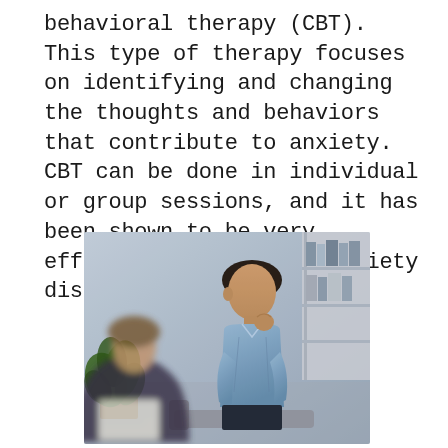behavioral therapy (CBT). This type of therapy focuses on identifying and changing the thoughts and behaviors that contribute to anxiety. CBT can be done in individual or group sessions, and it has been shown to be very effective in treating anxiety disorders.
[Figure (photo): A therapy session photo showing a man in a light blue shirt sitting thoughtfully with hand near chin, in a modern office setting with a bookshelf and plant visible. A therapist's figure is visible in the foreground (blurred).]